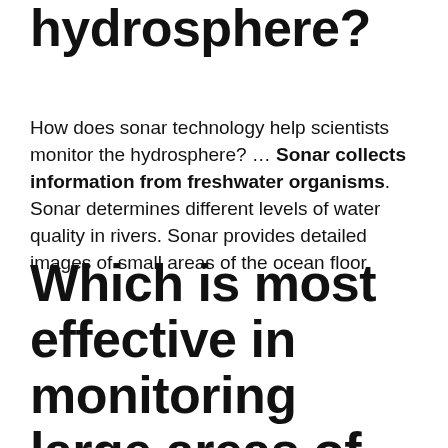hydrosphere?
How does sonar technology help scientists monitor the hydrosphere? … Sonar collects information from freshwater organisms. Sonar determines different levels of water quality in rivers. Sonar provides detailed images of small areas of the ocean floor.
Which is most effective in monitoring large areas of the ocean floor?